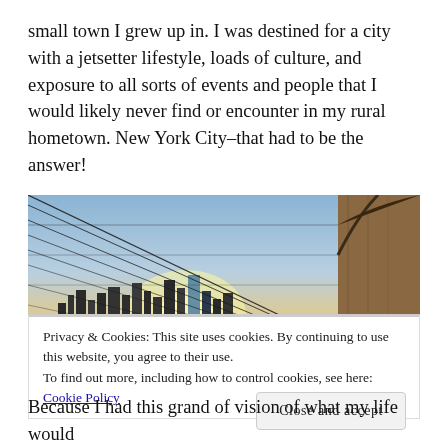small town I grew up in. I was destined for a city with a jetsetter lifestyle, loads of culture, and exposure to all sorts of events and people that I would likely never find or encounter in my rural hometown. New York City–that had to be the answer!
[Figure (photo): Photo of the Brooklyn Bridge cables and stone arch with New York City skyline and sunset in the background]
Privacy & Cookies: This site uses cookies. By continuing to use this website, you agree to their use.
To find out more, including how to control cookies, see here: Cookie Policy
Close and accept
Because I had this grand of vision of what my life would